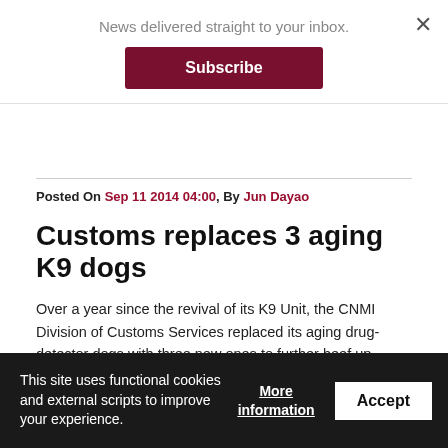News delivered straight to your inbox.
Subscribe
Posted On Sep 11 2014 04:00, By Jun Dayao
Customs replaces 3 aging K9 dogs
Over a year since the revival of its K9 Unit, the CNMI Division of Customs Services replaced its aging drug-detector dogs with three new ones to further beef up border security. Customs Director Joe Mafnas confirmed with Saipan Tribune yesterday that two new dogs have been in use...
Posted On Sep 11 2014 04:00, By Haidee V. Eugenio
This site uses functional cookies and external scripts to improve your experience.
More information
Accept